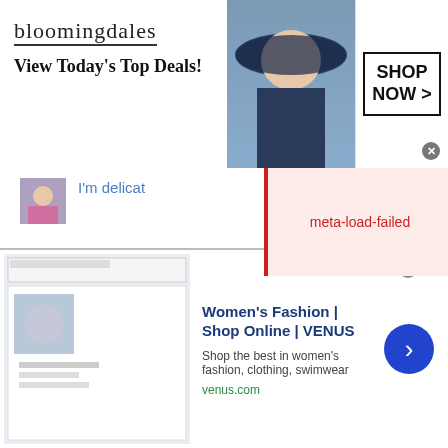[Figure (screenshot): Bloomingdales banner ad: logo, 'View Today's Top Deals!', woman with hat, SHOP NOW button]
meta-load-failed
I'm delicat…
about 18 hours ago
Finding Aryan, because of unfortunate internet connection
4 days ago
Athena had a great chat with Stranger
2 days ago
Female India Here Need Muslim Only**
[Figure (screenshot): VENUS Women's Fashion ad banner with website screenshot, title, description and arrow button]